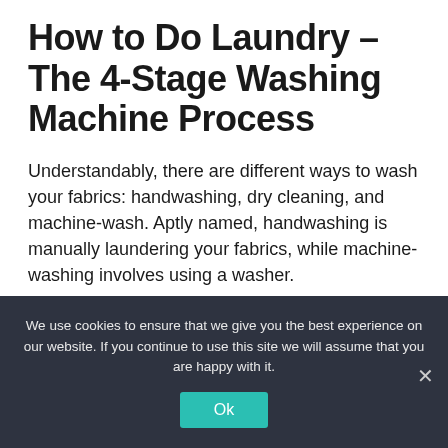How to Do Laundry – The 4-Stage Washing Machine Process
Understandably, there are different ways to wash your fabrics: handwashing, dry cleaning, and machine-wash. Aptly named, handwashing is manually laundering your fabrics, while machine-washing involves using a washer.
We use cookies to ensure that we give you the best experience on our website. If you continue to use this site we will assume that you are happy with it.